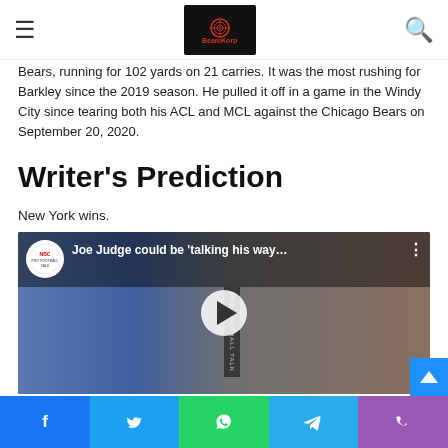BeamKorp navigation bar with hamburger menu and search icon
Bears, rushing for 102 yards on 21 carries. It was the most rushing for Barkley since the 2019 season. He pulled it off in a game in the Windy City since tearing both his ACL and MCL against the Chicago Bears on September 20, 2020.
Writer's Prediction
New York wins.
[Figure (screenshot): YouTube video thumbnail showing NBC Football Talk logo, title 'Joe Judge could be talking his way...' with a coach wearing headset on left and a TV analyst on right, with play button overlay]